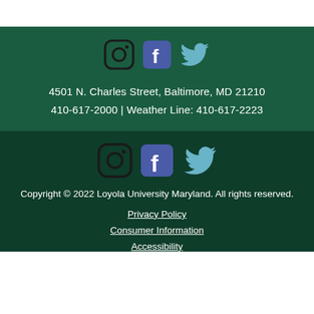[Figure (illustration): Social media icons: Instagram, Facebook, Twitter (top section)]
4501 N. Charles Street, Baltimore, MD 21210
410-617-2000 | Weather Line: 410-617-2223
[Figure (illustration): Social media icons: Instagram, Facebook, Twitter (bottom section)]
Copyright © 2022 Loyola University Maryland. All rights reserved.
Privacy Policy
Consumer Information
Accessibility